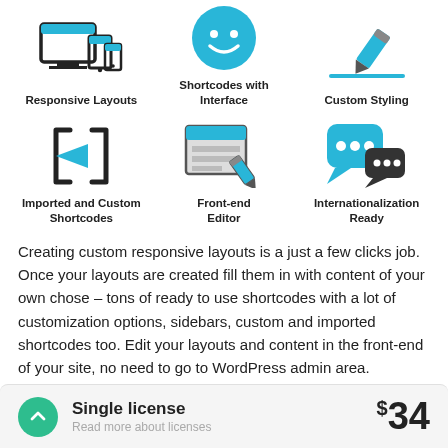[Figure (illustration): Row of three icons: Responsive Layouts (monitor+tablet+phone), Shortcodes with Interface (smiley face), Custom Styling (pencil with line)]
[Figure (illustration): Row of three icons: Imported and Custom Shortcodes (bracket with arrow), Front-end Editor (window with pencil), Internationalization Ready (speech bubbles)]
Creating custom responsive layouts is a just a few clicks job. Once your layouts are created fill them in with content of your own chose – tons of ready to use shortcodes with a lot of customization options, sidebars, custom and imported shortcodes too. Edit your layouts and content in the front-end of your site, no need to go to WordPress admin area.
Single license
Read more about licenses
$34